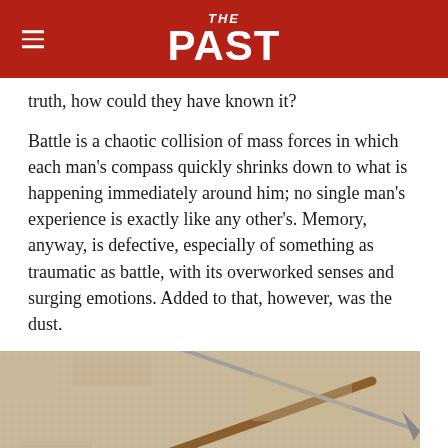THE PAST
truth, how could they have known it?
Battle is a chaotic collision of mass forces in which each man’s compass quickly shrinks down to what is happening immediately around him; no single man’s experience is exactly like any other’s. Memory, anyway, is defective, especially of something as traumatic as battle, with its overworked senses and surging emotions. Added to that, however, was the dust.
[Figure (photo): Close-up of an ancient mosaic depicting a figure (warrior or soldier) with a golden helmet or headdress, with diagonal spear/lance shafts crossing the scene, on a beige/stone background.]